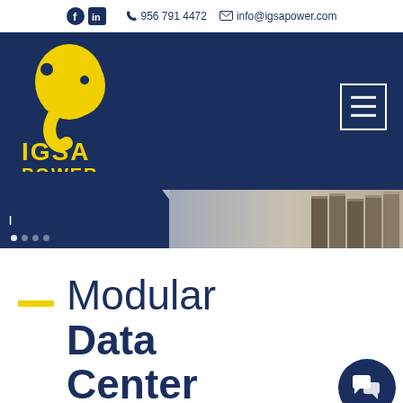956 791 4472   info@igsapower.com
[Figure (logo): IGSA Power logo on dark navy blue banner background with hamburger menu button. Yellow elephant mascot with IGSA POWER text in yellow. Below the banner is a partial view of data center equipment with diagonal blue stripe design element and slider navigation dots.]
Modular Data Center